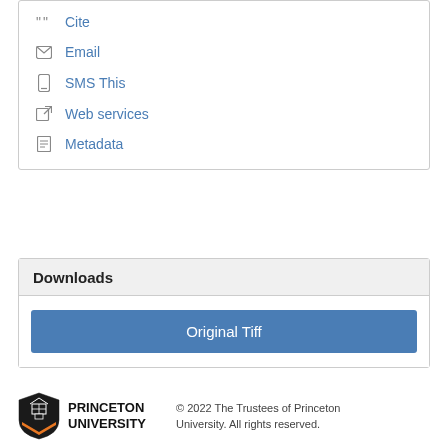Cite
Email
SMS This
Web services
Metadata
Downloads
Original Tiff
PRINCETON UNIVERSITY © 2022 The Trustees of Princeton University. All rights reserved.